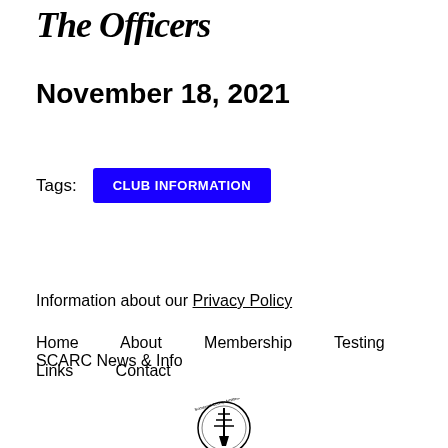The Officers
November 18, 2021
Tags: CLUB INFORMATION
Information about our Privacy Policy
Home · About · Membership · Testing · SCARC News & Info · Links · Contact
[Figure (logo): Somerset County Amateur Radio Club circular logo with antenna tower]